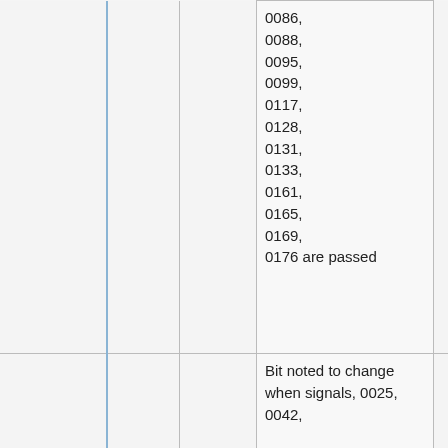|  |  |  | 0086, 0088, 0095, 0099, 0117, 0128, 0131, 0133, 0161, 0165, 0169, 0176 are passed |  |
|  |  |  | Bit noted to change when signals, 0025, 0042, |  |